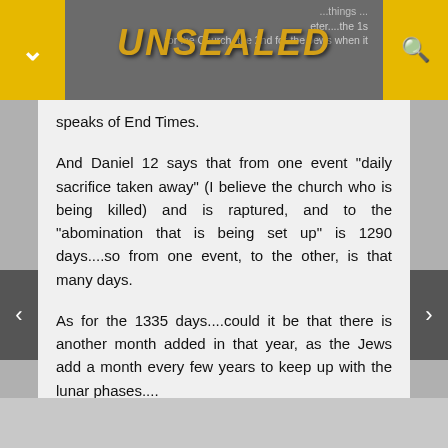UNSEALED
speaks of End Times.
And Daniel 12 says that from one event "daily sacrifice taken away" (I believe the church who is being killed) and is raptured, and to the "abomination that is being set up" is 1290 days....so from one event, to the other, is that many days.
As for the 1335 days....could it be that there is another month added in that year, as the Jews add a month every few years to keep up with the lunar phases....